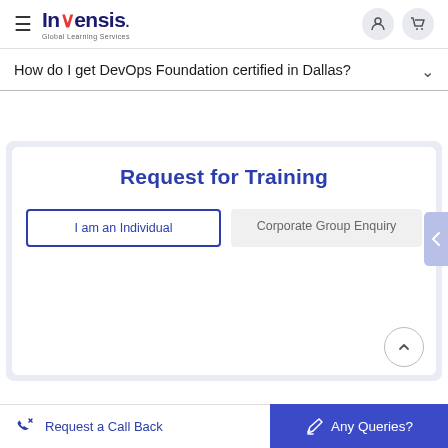[Figure (logo): Invensis Global Learning Services logo with hamburger menu, user icon and cart icon]
How do I get DevOps Foundation certified in Dallas?
[Figure (screenshot): Request for Training form with 'I am an Individual' and 'Corporate Group Enquiry' tabs]
Request a Call Back    Any Queries?